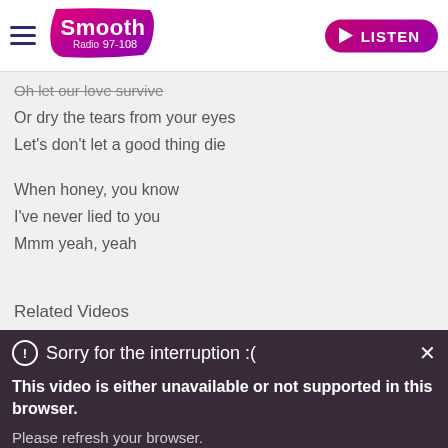Smooth Radio 97-108 | LISTEN
Oh let our love survive
Or dry the tears from your eyes
Let's don't let a good thing die
When honey, you know
I've never lied to you
Mmm yeah, yeah
Related Videos
[Figure (screenshot): Video player showing error overlay: 'Sorry for the interruption :(' with message 'This video is either unavailable or not supported in this browser. Please refresh your browser.']